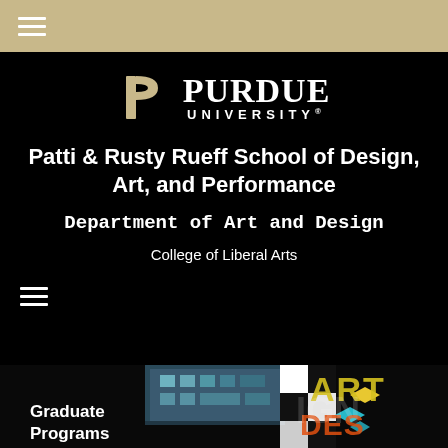≡
[Figure (logo): Purdue University logo with stylized P and text PURDUE UNIVERSITY]
Patti & Rusty Rueff School of Design, Art, and Performance
Department of Art and Design
College of Liberal Arts
[Figure (photo): Graduate Programs promotional banner with checkered design pattern, building photo, and colorful ART DESIGN text]